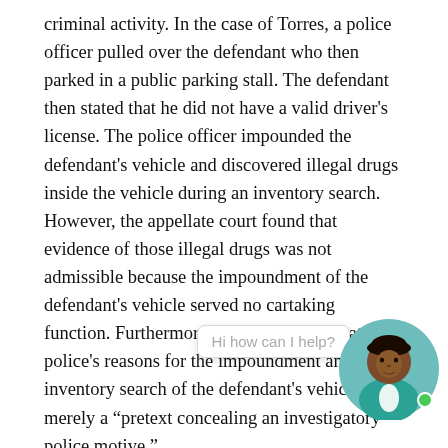criminal activity. In the case of Torres, a police officer pulled over the defendant who then parked in a public parking stall. The defendant then stated that he did not have a valid driver's license. The police officer impounded the defendant's vehicle and discovered illegal drugs inside the vehicle during an inventory search. However, the appellate court found that evidence of those illegal drugs was not admissible because the impoundment of the defendant's vehicle served no cartaking function. Furthermore, the court found that police's reasons for the impoundment and inventory search of the defendant's vehicle were merely a “pretext concealing an investigatory police motive.”
Thus, the police may not tow, impound, or perform inventory searches on vehicles when the California Vehicle Code grants authority to do so, if the impoundment is done without a community...
[Figure (illustration): Chat assistant avatar: a circular icon showing a person with dark skin and dark hair wearing a teal/green blazer, with a small green online indicator dot. A chat bubble overlay reads 'Hi how can I help?']